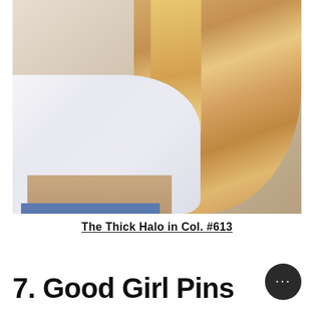[Figure (photo): A woman viewed from behind wearing a white puff-sleeve crop top and jeans, with long wavy blonde hair, standing against a beige wall.]
The Thick Halo in Col. #613
7. Good Girl Pins